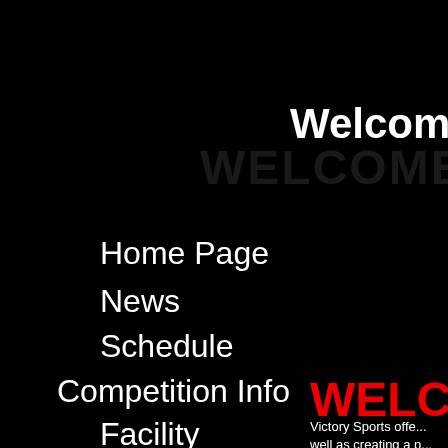Welcome t
Home Page
News
Schedule
Competition Info
Facility
Forms
WELC
Victory Sports offe... well as creating a p...